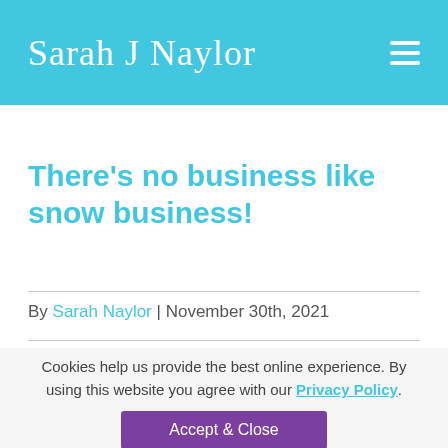Sarah J Naylor
There's no business like snow business!
By Sarah Naylor | November 30th, 2021
Cookies help us provide the best online experience. By using this website you agree with our Privacy Policy.
Accept & Close